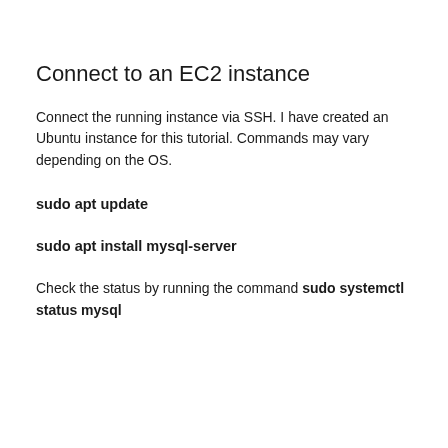Connect to an EC2 instance
Connect the running instance via SSH. I have created an Ubuntu instance for this tutorial. Commands may vary depending on the OS.
sudo apt update
sudo apt install mysql-server
Check the status by running the command sudo systemctl status mysql